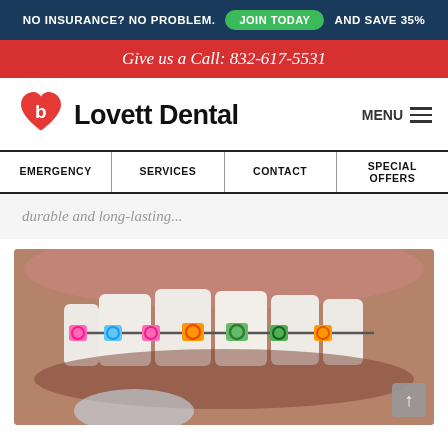NO INSURANCE? NO PROBLEM. JOIN TODAY AND SAVE 35%
Give us a Call: 832-617-5531
Lovett Dental
MENU
EMERGENCY | SERVICES | CONTACT | SPECIAL OFFERS
durable and long-lasting...
[Figure (photo): Close-up photo of a person's teeth with colorful braces — pink, blue, orange, and green bracket ties visible on metal braces with wire.]